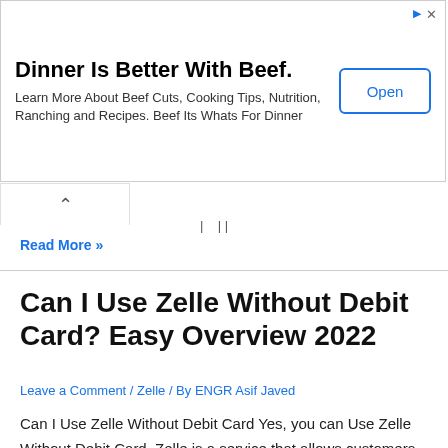[Figure (other): Advertisement banner: 'Dinner Is Better With Beef.' with Open button]
Read More »
Can I Use Zelle Without Debit Card? Easy Overview 2022
Leave a Comment / Zelle / By ENGR Asif Javed
Can I Use Zelle Without Debit Card Yes, you can Use Zelle Without Debit Card. Zelle is a service that allows customers to send and receive money directly to their bank accounts. So, if you don't have a debit card, you can easily sign up for Zelle using your bank account. in this article, we …